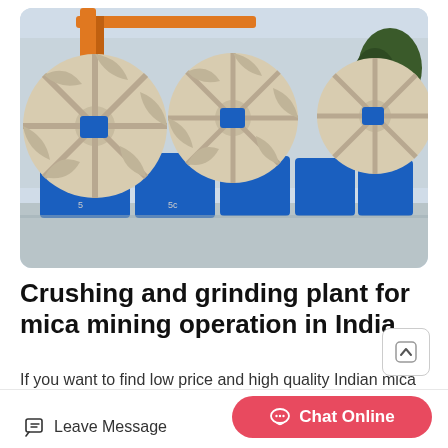[Figure (photo): Large industrial sand washing or mineral processing machines with big wheel-shaped rotors colored cream/beige with blue metal troughs, lined up outdoors in a row, with an orange crane structure and trees in background.]
Crushing and grinding plant for mica mining operation in India
If you want to find low price and high quality Indian mica mining plant please contact us Mica Crusher and Grinding Plant in India After extracted from the quarry mica will be sent to
Leave Message   Chat Online